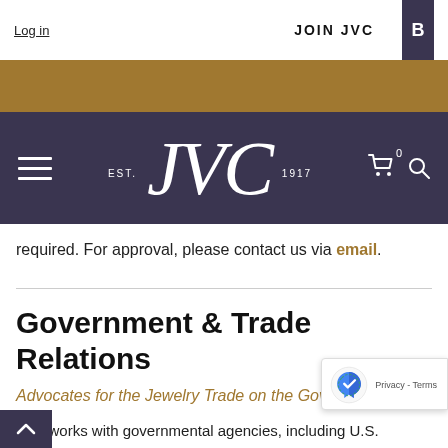Log in | JOIN JVC
[Figure (logo): JVC logo with EST. 1917 text on dark purple navigation bar with hamburger menu, cart icon, and search icon]
required. For approval, please contact us via email.
Government & Trade Relations
Advocates for the Jewelry Trade on the Government Level
JVC works with governmental agencies, including U.S. Customs and Border Patrol, the Federal Trade Commission, U.S. Department of State and Departments of Consumer